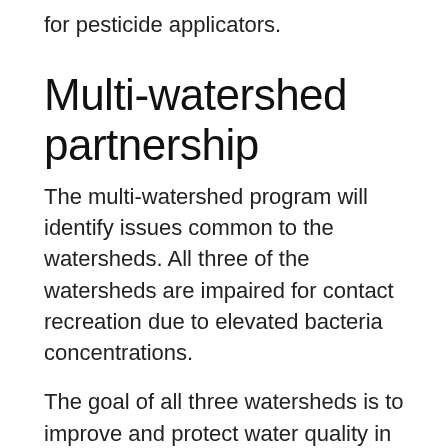for pesticide applicators.
Multi-watershed partnership
The multi-watershed program will identify issues common to the watersheds. All three of the watersheds are impaired for contact recreation due to elevated bacteria concentrations.
The goal of all three watersheds is to improve and protect water quality in these creeks for present and future generations of Texans, said Wiley.
Community members in each of the watersheds have developed Watershed